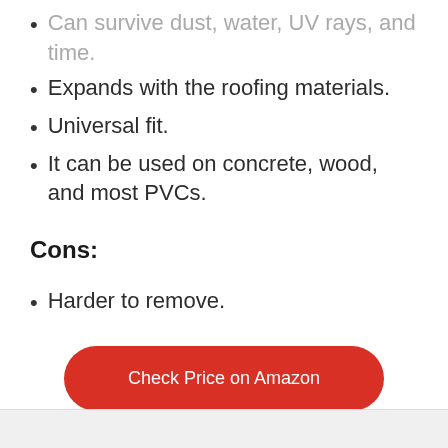Can survive dust, water, UV rays, and time.
Expands with the roofing materials.
Universal fit.
It can be used on concrete, wood, and most PVCs.
Cons:
Harder to remove.
[Figure (other): Red rounded rectangle button with white text 'Check Price on Amazon']